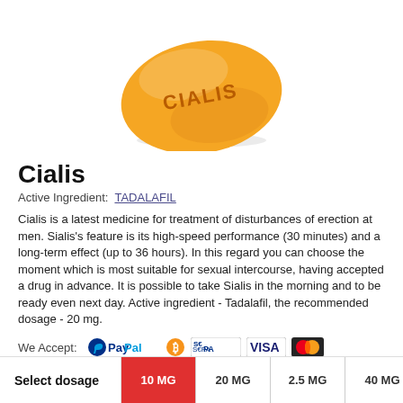[Figure (photo): Yellow oval Cialis pill tablet with 'CIALIS' embossed on it]
Cialis
Active Ingredient: TADALAFIL
Cialis is a latest medicine for treatment of disturbances of erection at men. Sialis's feature is its high-speed performance (30 minutes) and a long-term effect (up to 36 hours). In this regard you can choose the moment which is most suitable for sexual intercourse, having accepted a drug in advance. It is possible to take Sialis in the morning and to be ready even next day. Active ingredient - Tadalafil, the recommended dosage - 20 mg.
[Figure (infographic): Payment method icons: PayPal, Bitcoin, SEPA, VISA, Mastercard]
Other names of Cialis: Tadalafilo  Tadalafilum  Tadalis  Regalis  Apcalis
| Select dosage | 10 MG | 20 MG | 2.5 MG | 40 MG | 5 MG |
| --- | --- | --- | --- | --- | --- |